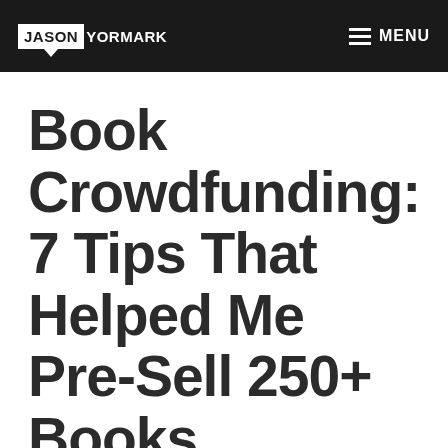JASON YORMARK — MENU
Book Crowdfunding: 7 Tips That Helped Me Pre-Sell 250+ Books